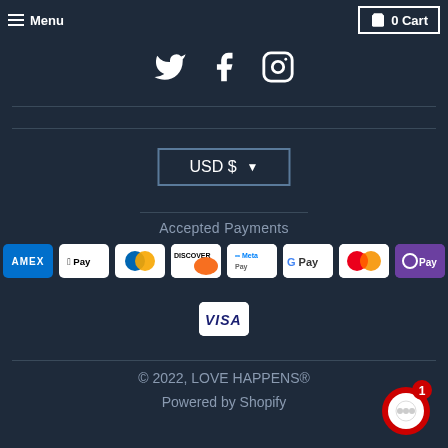Menu | 0 Cart
[Figure (illustration): Twitter, Facebook, Instagram social media icons in white on dark background]
[Figure (illustration): USD $ currency selector dropdown button with border]
Accepted Payments
[Figure (illustration): Payment method icons: AMEX, Apple Pay, Diners Club, Discover, Meta Pay, Google Pay, Mastercard, OPay, VISA]
© 2022, LOVE HAPPENS® Powered by Shopify